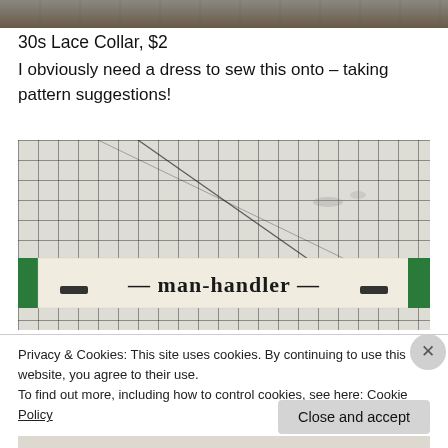[Figure (photo): Top partial cropped image showing a textured/patterned surface in brown and gray tones]
30s Lace Collar, $2
I obviously need a dress to sew this onto – taking pattern suggestions!
[Figure (photo): Photo of a cutting mat with grid lines and a white fabric strip labeled 'man-handler' in gothic/blackletter font with green edges, placed on the mat]
Privacy & Cookies: This site uses cookies. By continuing to use this website, you agree to their use.
To find out more, including how to control cookies, see here: Cookie Policy
Close and accept